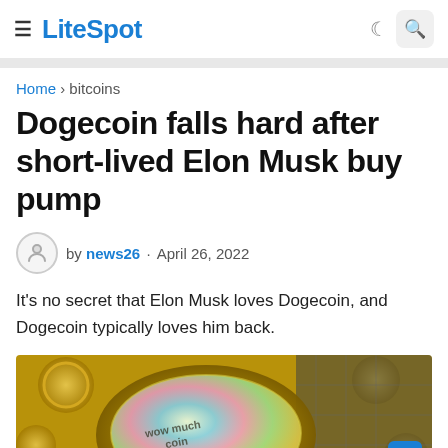≡ LiteSpot
Home › bitcoins
Dogecoin falls hard after short-lived Elon Musk buy pump
by news26 · April 26, 2022
It's no secret that Elon Musk loves Dogecoin, and Dogecoin typically loves him back.
[Figure (photo): Close-up photo of a Dogecoin cryptocurrency coin with holographic surface showing 'wow much coin' text, surrounded by golden coins]